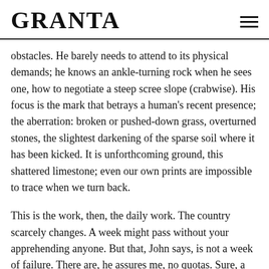GRANTA
obstacles. He barely needs to attend to its physical demands; he knows an ankle-turning rock when he sees one, how to negotiate a steep scree slope (crabwise). His focus is the mark that betrays a human's recent presence; the aberration: broken or pushed-down grass, overturned stones, the slightest darkening of the sparse soil where it has been kicked. It is unforthcoming ground, this shattered limestone; even our own prints are impossible to trace when we turn back.
This is the work, then, the daily work. The country scarcely changes. A week might pass without your apprehending anyone. But that, John says, is not a week of failure. There are, he assures me, no quotas. Sure, a beautiful place to work. But frankly you don't think much about its beauty.